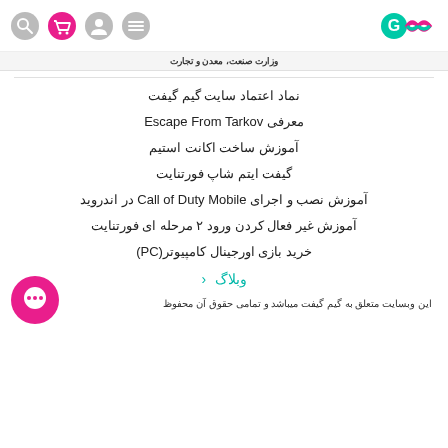GimGift logo and navigation icons
وزارت صنعت، معدن و تجارت
نماد اعتماد سایت گیم گیفت
معرفی Escape From Tarkov
آموزش ساخت اکانت استیم
گیفت ایتم شاپ فورتنایت
آموزش نصب و اجرای Call of Duty Mobile در اندروید
آموزش غیر فعال کردن ورود ۲ مرحله ای فورتنایت
خرید بازی اورجینال کامپیوتر(PC)
وبلاگ ‹
این وبسایت متعلق به گیم گیفت میباشد و تمامی حقوق آن محفوظ